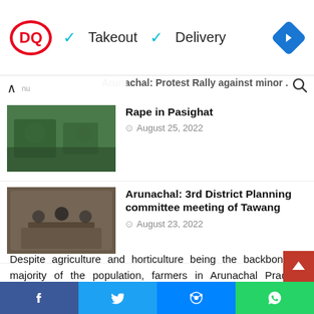[Figure (screenshot): Dairy Queen (DQ) advertisement banner with logo, checkmarks for Takeout and Delivery options, and a navigation arrow icon]
Rape in Pasighat
August 25, 2022
Arunachal: 3rd District Planning committee meeting of Tawang
August 23, 2022
Despite agriculture and horticulture being the backbone of majority of the population, farmers in Arunachal Pradesh remain the most exploited in terms of new technologies farming.